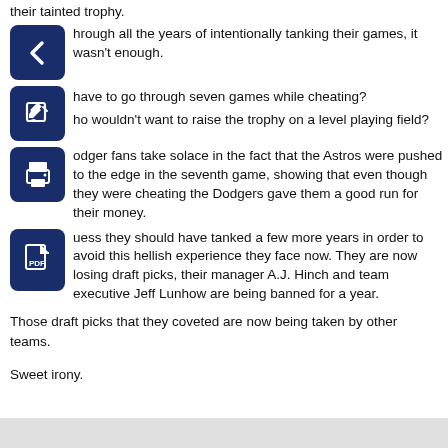their tainted trophy.
hrough all the years of intentionally tanking their games, it wasn’t enough.
have to go through seven games while cheating?
ho wouldn’t want to raise the trophy on a level playing field?
Dodger fans take solace in the fact that the Astros were pushed to the edge in the seventh game, showing that even though they were cheating the Dodgers gave them a good run for their money.
uess they should have tanked a few more years in order to avoid this hellish experience they face now. They are now losing draft picks, their manager A.J. Hinch and team executive Jeff Lunhow are being banned for a year.
Those draft picks that they coveted are now being taken by other teams.
Sweet irony.